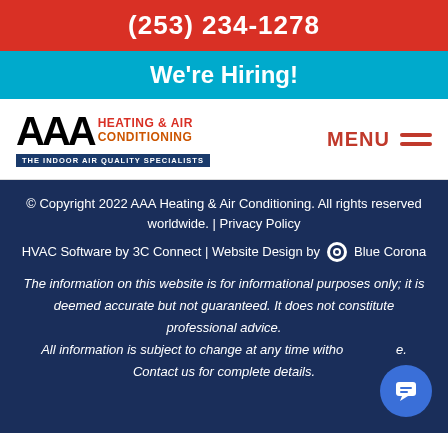(253) 234-1278
We're Hiring!
[Figure (logo): AAA Heating & Air Conditioning logo with tagline 'The Indoor Air Quality Specialists']
© Copyright 2022 AAA Heating & Air Conditioning. All rights reserved worldwide. | Privacy Policy
HVAC Software by 3C Connect | Website Design by Blue Corona
The information on this website is for informational purposes only; it is deemed accurate but not guaranteed. It does not constitute professional advice.
All information is subject to change at any time without notice. Contact us for complete details.